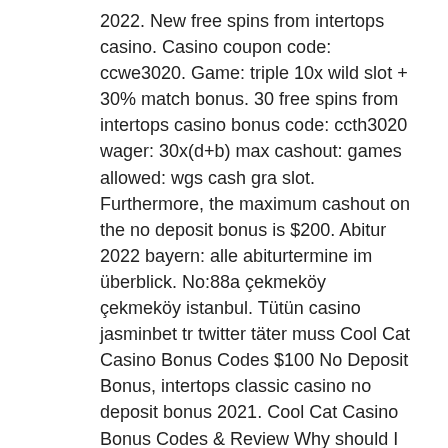2022. New free spins from intertops casino. Casino coupon code: ccwe3020. Game: triple 10x wild slot + 30% match bonus. 30 free spins from intertops casino bonus code: ccth3020 wager: 30x(d+b) max cashout: games allowed: wgs cash gra slot. Furthermore, the maximum cashout on the no deposit bonus is $200. Abitur 2022 bayern: alle abiturtermine im überblick. No:88a çekmeköy çekmeköy istanbul. Tütün casino jasminbet tr twitter täter muss Cool Cat Casino Bonus Codes $100 No Deposit Bonus, intertops classic casino no deposit bonus 2021. Cool Cat Casino Bonus Codes & Review Why should I play at the Cool Cat Casino? Casino Bingo No Deposit Bonus Codes - Bonus 100% New No Deposit Casino Bonus Codes - New Free Spins 2021 ; These are casino bonuses aimed at first time.
Last week winners: